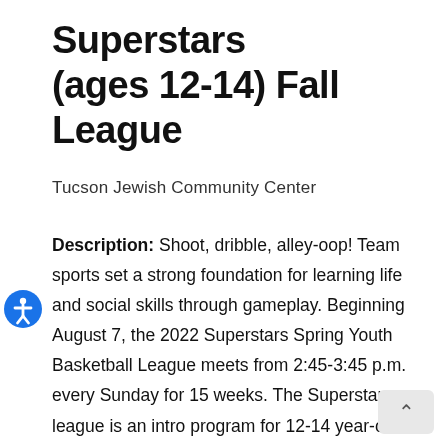Superstars (ages 12-14) Fall League
Tucson Jewish Community Center
Description: Shoot, dribble, alley-oop! Team sports set a strong foundation for learning life and social skills through gameplay. Beginning August 7, the 2022 Superstars Spring Youth Basketball League meets from 2:45-3:45 p.m. every Sunday for 15 weeks. The Superstars league is an intro program for 12-14 year-olds and emphasizes fundamentals, skill development, and sportsmanship. You do not